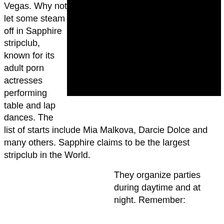Vegas. Why not let some steam off in Sapphire stripclub, known for its adult porn actresses performing table and lap dances. The list of starts include Mia Malkova, Darcie Dolce and many others. Sapphire claims to be the largest stripclub in the World.
[Figure (photo): Black rectangle representing a redacted or dark image]
They organize parties during daytime and at night. Remember: